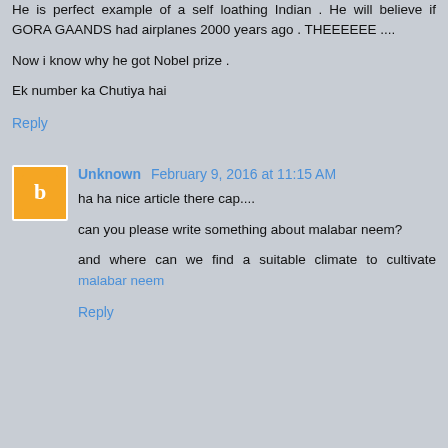He is perfect example of a self loathing Indian . He will believe if GORA GAANDS had airplanes 2000 years ago . THEEEEEE ....
Now i know why he got Nobel prize .
Ek number ka Chutiya hai
Reply
Unknown February 9, 2016 at 11:15 AM
ha ha nice article there cap....
can you please write something about malabar neem?
and where can we find a suitable climate to cultivate malabar neem
Reply